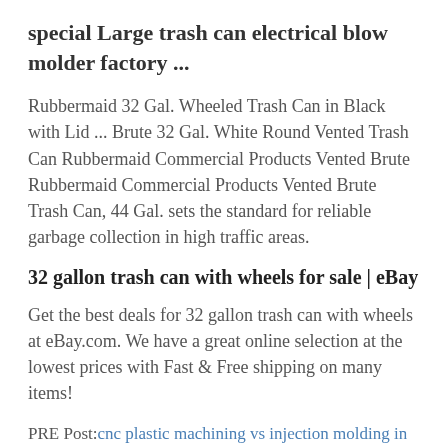special Large trash can electrical blow molder factory ...
Rubbermaid 32 Gal. Wheeled Trash Can in Black with Lid ... Brute 32 Gal. White Round Vented Trash Can Rubbermaid Commercial Products Vented Brute Rubbermaid Commercial Products Vented Brute Trash Can, 44 Gal. sets the standard for reliable garbage collection in high traffic areas.
32 gallon trash can with wheels for sale | eBay
Get the best deals for 32 gallon trash can with wheels at eBay.com. We have a great online selection at the lowest prices with Fast & Free shipping on many items!
PRE Post: cnc plastic machining vs injection molding in new zealand
NEXT Post: customize desktop injection molder
Home > cap mould price>white brute trash can mould in